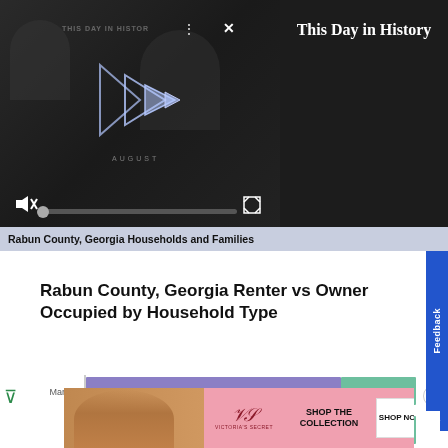[Figure (screenshot): Video player showing 'This Day in History' with dark background, play button, mute icon, progress bar, and fullscreen button. Text overlay reads 'THIS DAY IN HISTORY' and 'AUGUST'.]
This Day in History
Rabun County, Georgia Households and Families    Show So
Rabun County, Georgia Renter vs Owner Occupied by Household Type
[Figure (bar-chart): Horizontal stacked bar chart showing Owner vs Renter occupied households. Two bars: Married and All. Each bar is mostly purple (owner) with a smaller green (renter) segment on the right.]
[Figure (advertisement): Victoria's Secret advertisement: 'SHOP THE COLLECTION' with SHOP NOW button, featuring a woman with curly hair on pink background.]